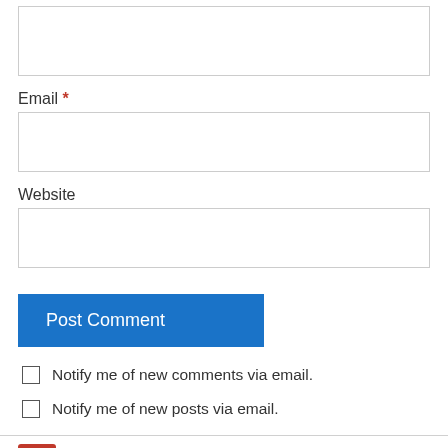[Figure (other): Empty text input box at top of page (partially cut off)]
Email *
[Figure (other): Email input box]
Website
[Figure (other): Website input box]
Post Comment
Notify me of new comments via email.
Notify me of new posts via email.
David Mullins on March 21, 2018 at 6:40 pm